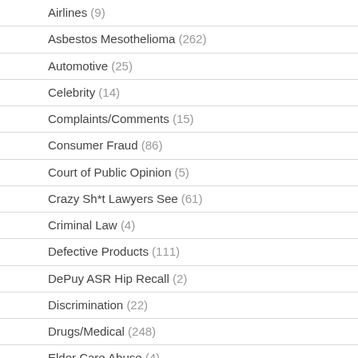Airlines (9)
Asbestos Mesothelioma (262)
Automotive (25)
Celebrity (14)
Complaints/Comments (15)
Consumer Fraud (86)
Court of Public Opinion (5)
Crazy Sh*t Lawyers See (61)
Criminal Law (4)
Defective Products (111)
DePuy ASR Hip Recall (2)
Discrimination (22)
Drugs/Medical (248)
Elder Care Abuse (4)
Employment (54)
Environment (52)
Financial (28)
Food Illness (15)
Human/Civil Rights (4)